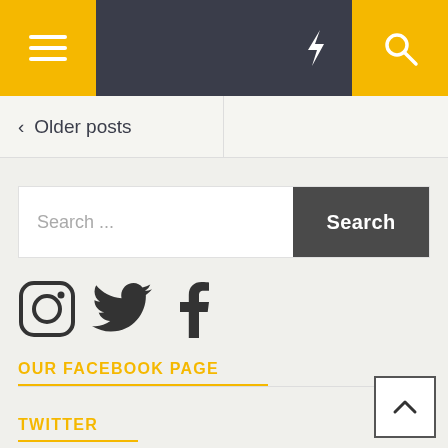< Older posts
Search ...
[Figure (other): Social media icons: Instagram, Twitter, Facebook]
OUR FACEBOOK PAGE
TWITTER